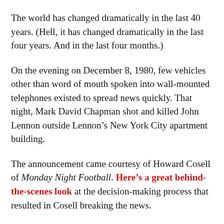The world has changed dramatically in the last 40 years. (Hell, it has changed dramatically in the last four years. And in the last four months.)
On the evening on December 8, 1980, few vehicles other than word of mouth spoken into wall-mounted telephones existed to spread news quickly. That night, Mark David Chapman shot and killed John Lennon outside Lennon’s New York City apartment building.
The announcement came courtesy of Howard Cosell of Monday Night Football. Here’s a great behind-the-scenes look at the decision-making process that resulted in Cosell breaking the news.
“Remember, this is just a football game, no matter who wins or loses,” Cosell said that night. “An unspeakable tragedy,